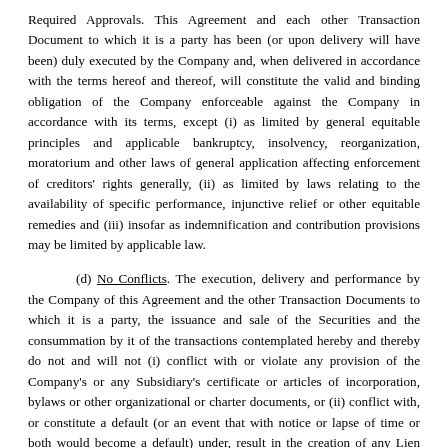Required Approvals. This Agreement and each other Transaction Document to which it is a party has been (or upon delivery will have been) duly executed by the Company and, when delivered in accordance with the terms hereof and thereof, will constitute the valid and binding obligation of the Company enforceable against the Company in accordance with its terms, except (i) as limited by general equitable principles and applicable bankruptcy, insolvency, reorganization, moratorium and other laws of general application affecting enforcement of creditors' rights generally, (ii) as limited by laws relating to the availability of specific performance, injunctive relief or other equitable remedies and (iii) insofar as indemnification and contribution provisions may be limited by applicable law.
(d) No Conflicts. The execution, delivery and performance by the Company of this Agreement and the other Transaction Documents to which it is a party, the issuance and sale of the Securities and the consummation by it of the transactions contemplated hereby and thereby do not and will not (i) conflict with or violate any provision of the Company's or any Subsidiary's certificate or articles of incorporation, bylaws or other organizational or charter documents, or (ii) conflict with, or constitute a default (or an event that with notice or lapse of time or both would become a default) under, result in the creation of any Lien upon any of the properties or assets of the Company or any Subsidiary, or give to others any rights of termination, amendment, anti-dilution or similar adjustments, acceleration or cancellation (with or without notice, lapse of time or both) of, any agreement, credit facility, debt or other instrument (evidencing a Company or Subsidiary debt or otherwise) or other understanding to